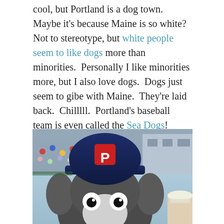cool, but Portland is a dog town.  Maybe it's because Maine is so white?  Not to stereotype, but white people seem to like dogs more than minorities.  Personally I like minorities more, but I also love dogs.  Dogs just seem to gibe with Maine.  They're laid back.  Chilllll.  Portland's baseball team is even called the Sea Dogs!  Which I think is technically a seal?  Or something?  Seriously, I don't even know what a Sea Dog is, but here's Slugger the Sea DOG w/ my daughters.
[Figure (photo): Close-up photo of Slugger the Sea Dogs mascot (large plush character) wearing a navy blue baseball helmet with Portland Sea Dogs 'P' logo, with stadium crowd visible in the background. A person wearing a white hat is partially visible on the right side.]